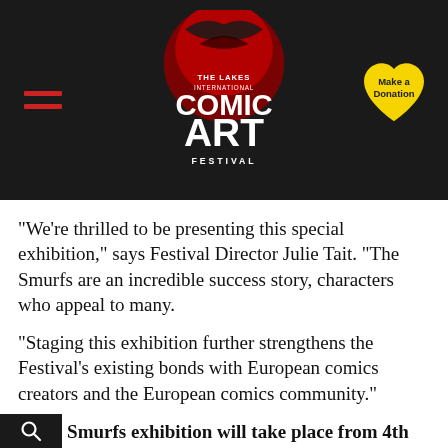The Lakes International Comic Art Festival — Make a Donation
"We're thrilled to be presenting this special exhibition," says Festival Director Julie Tait. "The Smurfs are an incredible success story, characters who appeal to many.
"Staging this exhibition further strengthens the Festival's existing bonds with European comics creators and the European comics community."
The Smurfs exhibition will take place from 4th October to 3rd November 2019 at the Sugar Store in The Brewery, Kendal, Cumbria. The Lakes International Comic Art Festival runs from in Friday 11th – 13th